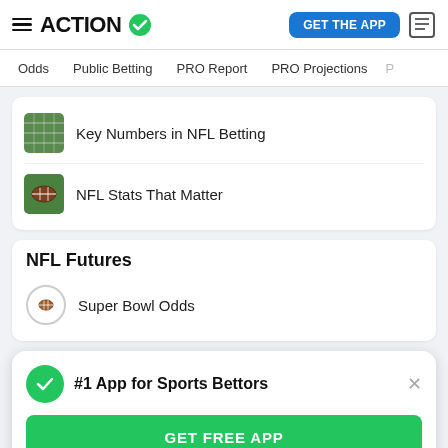ACTION
Odds  Public Betting  PRO Report  PRO Projections
Key Numbers in NFL Betting
NFL Stats That Matter
NFL Futures
Super Bowl Odds
#1 App for Sports Bettors
GET FREE APP